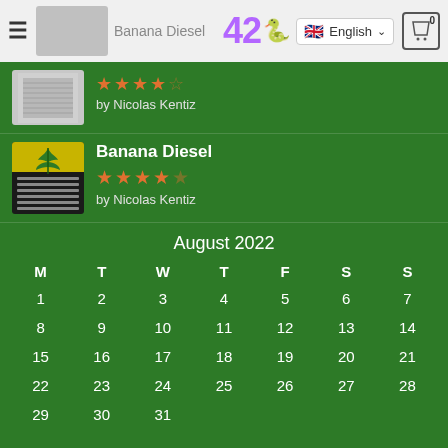42 | English | 0
[Figure (screenshot): First review item - partially visible product image with star rating and author Nicolas Kentiz]
[Figure (screenshot): Banana Diesel product with cannabis leaf design card image]
Banana Diesel
★★★★☆
by Nicolas Kentiz
| M | T | W | T | F | S | S |
| --- | --- | --- | --- | --- | --- | --- |
| 1 | 2 | 3 | 4 | 5 | 6 | 7 |
| 8 | 9 | 10 | 11 | 12 | 13 | 14 |
| 15 | 16 | 17 | 18 | 19 | 20 | 21 |
| 22 | 23 | 24 | 25 | 26 | 27 | 28 |
| 29 | 30 | 31 |  |  |  |  |